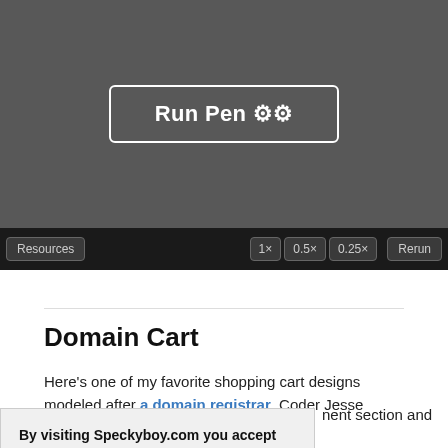[Figure (screenshot): A dark gray panel showing a 'Run Pen' button with gear icons, and a black toolbar below with 'Resources', '1×', '0.5×', '0.25×', and 'Rerun' buttons.]
Domain Cart
Here's one of my favorite shopping cart designs modeled after a domain registrar. Coder Jesse Bilsten got
nent section and
By visiting Speckyboy.com you accept our use of cookies and agree to our privacy policy.
re completing
able feature for
e two-column
layout. And this design is totally responsive so you can